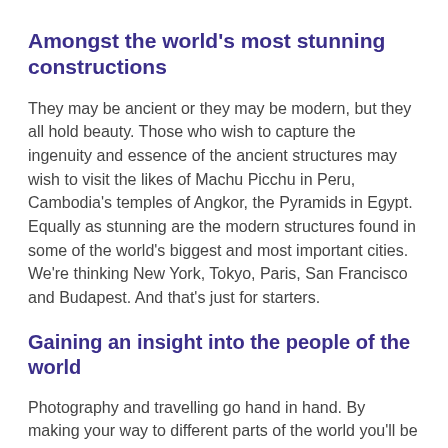Amongst the world's most stunning constructions
They may be ancient or they may be modern, but they all hold beauty. Those who wish to capture the ingenuity and essence of the ancient structures may wish to visit the likes of Machu Picchu in Peru, Cambodia's temples of Angkor, the Pyramids in Egypt. Equally as stunning are the modern structures found in some of the world's biggest and most important cities. We're thinking New York, Tokyo, Paris, San Francisco and Budapest. And that's just for starters.
Gaining an insight into the people of the world
Photography and travelling go hand in hand. By making your way to different parts of the world you'll be exposing yourself to diverse cultures and unique people. Capturing a snapshot of their lives is just